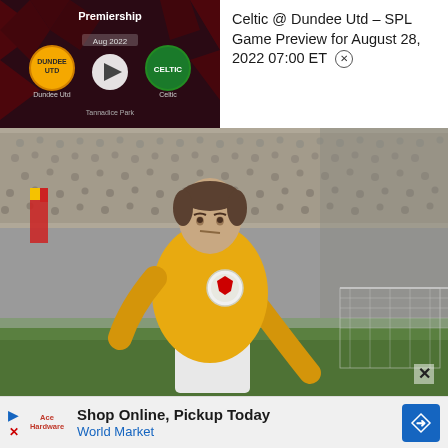[Figure (screenshot): Scottish Premiership match preview widget showing Dundee Utd vs Celtic at Tannadice Park with play button, dated 2022]
Celtic @ Dundee Utd – SPL Game Preview for August 28, 2022 07:00 ET
[Figure (photo): Vintage color photograph of a footballer wearing a yellow Scotland jersey and white shorts, standing in front of a large stadium crowd]
Shop Online, Pickup Today
World Market